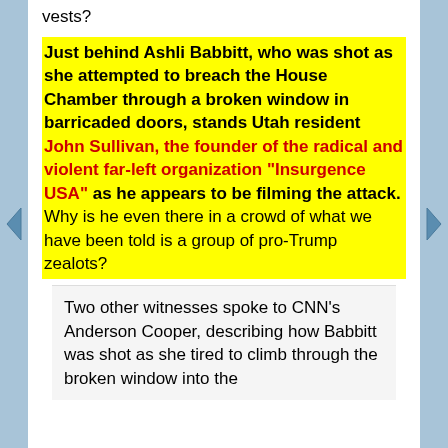vests?
Just behind Ashli Babbitt, who was shot as she attempted to breach the House Chamber through a broken window in barricaded doors, stands Utah resident John Sullivan, the founder of the radical and violent far-left organization "Insurgence USA" as he appears to be filming the attack. Why is he even there in a crowd of what we have been told is a group of pro-Trump zealots?
Two other witnesses spoke to CNN's Anderson Cooper, describing how Babbitt was shot as she tired to climb through the broken window into the...